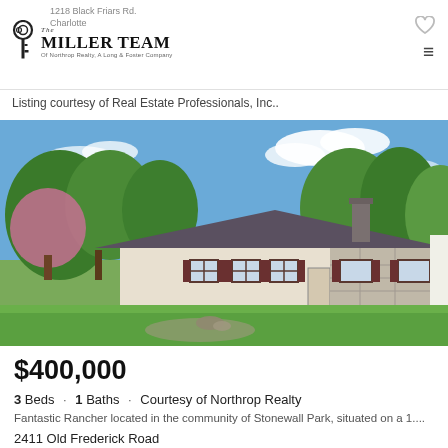1218 Black Friars Rd.
Charlotte
[Figure (logo): The Miller Team of Northrop Realty A Long & Foster Company logo with key icon]
Listing courtesy of Real Estate Professionals, Inc..
[Figure (photo): Exterior photo of a ranch-style house with green lawn, trees, blue sky with clouds, chimney, dark shutters]
$400,000
3 Beds · 1 Baths · Courtesy of Northrop Realty
Fantastic Rancher located in the community of Stonewall Park, situated on a 1....
2411 Old Frederick Road